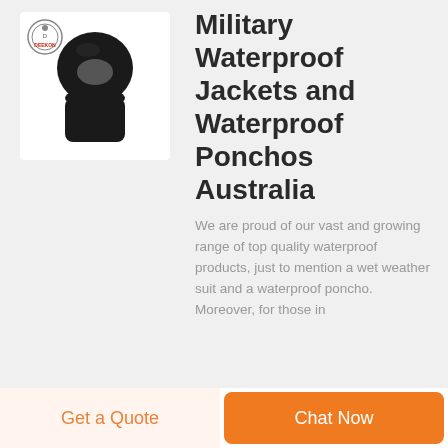[Figure (photo): Product photo of a black balaclava/face mask with Deekon logo in top-left corner]
Military Waterproof Jackets and Waterproof Ponchos Australia
We are proud of our vast and growing range of top quality waterproof products, just to mention a wet weather suit and a waterproof poncho. Moreover, for those in
Get a Quote
Chat Now